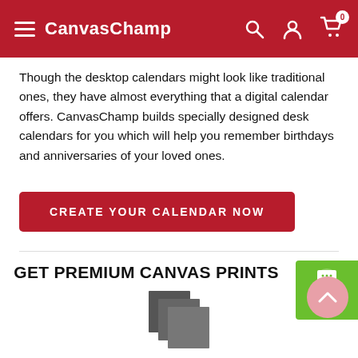CanvasChamp
Though the desktop calendars might look like traditional ones, they have almost everything that a digital calendar offers. CanvasChamp builds specially designed desk calendars for you which will help you remember birthdays and anniversaries of your loved ones.
CREATE YOUR CALENDAR NOW
GET PREMIUM CANVAS PRINTS PLUS ALL THESE BENEFITS
The perfect way to get creative and organized a year of wonderful memories. Great as a gift or a treat for yourself!
[Figure (illustration): Stacked canvas print icon — three overlapping dark gray square/rectangle shapes representing canvas prints]
PREMIUM QUALITY MATERIALS